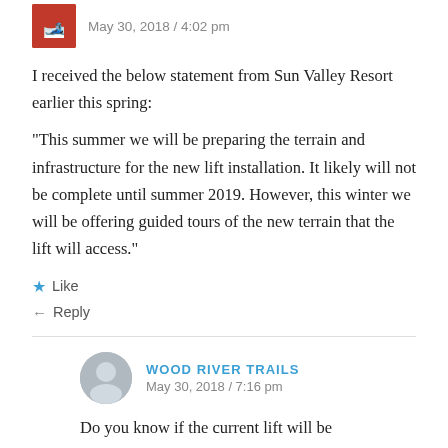May 30, 2018 / 4:02 pm
I received the below statement from Sun Valley Resort earlier this spring:
“This summer we will be preparing the terrain and infrastructure for the new lift installation. It likely will not be complete until summer 2019. However, this winter we will be offering guided tours of the new terrain that the lift will access.”
Like
Reply
WOOD RIVER TRAILS
May 30, 2018 / 7:16 pm
Do you know if the current lift will be